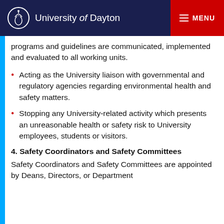University of Dayton | MENU
programs and guidelines are communicated, implemented and evaluated to all working units.
Acting as the University liaison with governmental and regulatory agencies regarding environmental health and safety matters.
Stopping any University-related activity which presents an unreasonable health or safety risk to University employees, students or visitors.
4. Safety Coordinators and Safety Committees
Safety Coordinators and Safety Committees are appointed by Deans, Directors, or Department